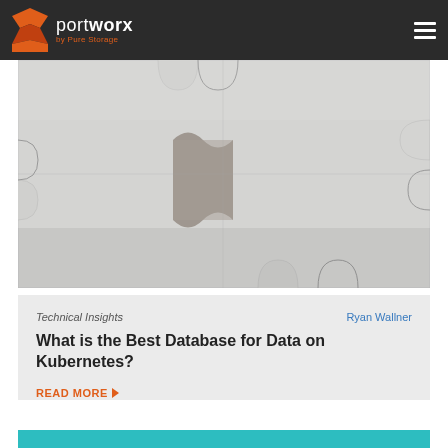portworx by Pure Storage
[Figure (photo): Close-up photo of white jigsaw puzzle pieces with one missing piece revealing a dark background]
Technical Insights
Ryan Wallner
What is the Best Database for Data on Kubernetes?
READ MORE